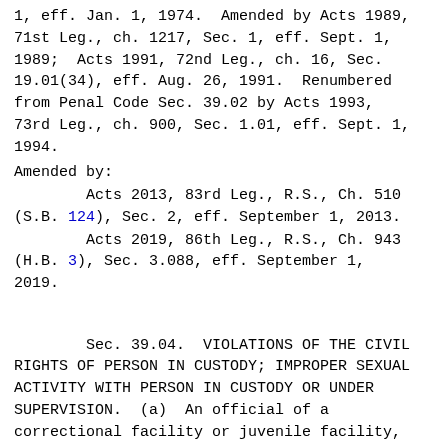1, eff. Jan. 1, 1974.  Amended by Acts 1989, 71st Leg., ch. 1217, Sec. 1, eff. Sept. 1, 1989;  Acts 1991, 72nd Leg., ch. 16, Sec. 19.01(34), eff. Aug. 26, 1991.  Renumbered from Penal Code Sec. 39.02 by Acts 1993, 73rd Leg., ch. 900, Sec. 1.01, eff. Sept. 1, 1994.
Amended by:
Acts 2013, 83rd Leg., R.S., Ch. 510 (S.B. 124), Sec. 2, eff. September 1, 2013.
Acts 2019, 86th Leg., R.S., Ch. 943 (H.B. 3), Sec. 3.088, eff. September 1, 2019.
Sec. 39.04.  VIOLATIONS OF THE CIVIL RIGHTS OF PERSON IN CUSTODY; IMPROPER SEXUAL ACTIVITY WITH PERSON IN CUSTODY OR UNDER SUPERVISION.  (a)  An official of a correctional facility or juvenile facility,